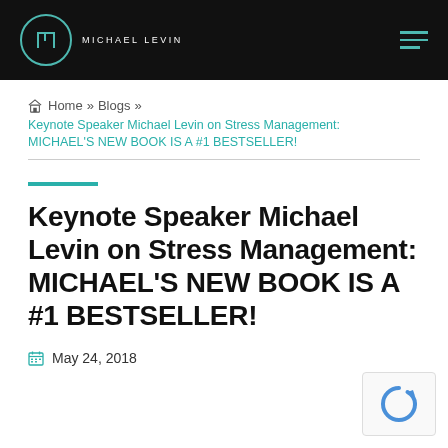MICHAEL LEVIN
Home » Blogs » Keynote Speaker Michael Levin on Stress Management: MICHAEL'S NEW BOOK IS A #1 BESTSELLER!
Keynote Speaker Michael Levin on Stress Management: MICHAEL'S NEW BOOK IS A #1 BESTSELLER!
May 24, 2018